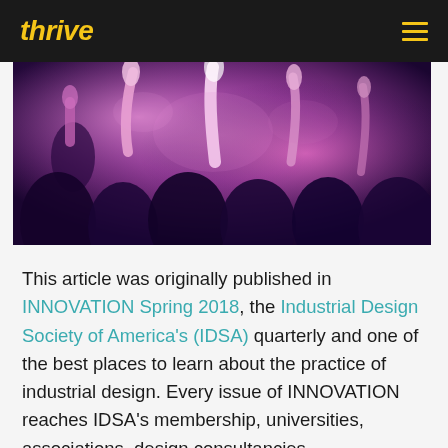thrive
[Figure (photo): Crowd of people at a concert or event, lit with purple and pink lighting, silhouettes of raised hands and people dancing]
This article was originally published in INNOVATION Spring 2018, the Industrial Design Society of America's (IDSA) quarterly and one of the best places to learn about the practice of industrial design. Every issue of INNOVATION reaches IDSA's membership, universities, associations, design consultancies